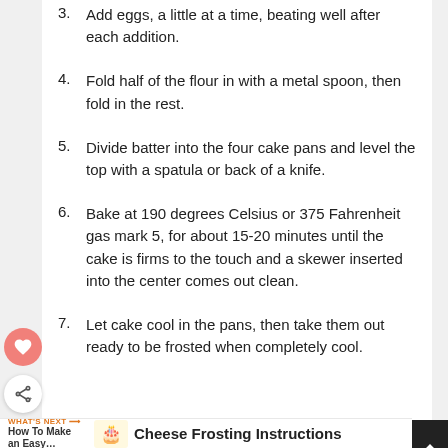3. Add eggs, a little at a time, beating well after each addition.
4. Fold half of the flour in with a metal spoon, then fold in the rest.
5. Divide batter into the four cake pans and level the top with a spatula or back of a knife.
6. Bake at 190 degrees Celsius or 375 Fahrenheit gas mark 5, for about 15-20 minutes until the cake is firms to the touch and a skewer inserted into the center comes out clean.
7. Let cake cool in the pans, then take them out ready to be frosted when completely cool.
WHAT'S NEXT → How To Make an Easy…
Cheese Frosting Instructions
1. In a mixer fitted with paddle attachment beat the